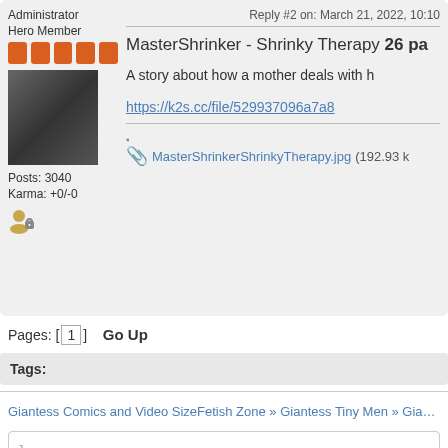Administrator
Hero Member
[Figure (photo): Black and white avatar photo of a person with long hair]
Posts: 3040
Karma: +0/-0
Reply #2 on: March 21, 2022, 10:10
MasterShrinker - Shrinky Therapy 26 pa
A story about how a mother deals with h
https://k2s.cc/file/529937096a7a8
MasterShrinkerShrinkyTherapy.jpg (192.93 k
Pages: [1]  Go Up
Tags:
Giantess Comics and Video SizeFetish Zone » Giantess Tiny Men » Giantess Comics,
J
Related Topics